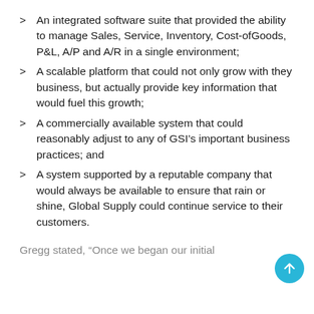An integrated software suite that provided the ability to manage Sales, Service, Inventory, Cost-ofGoods, P&L, A/P and A/R in a single environment;
A scalable platform that could not only grow with they business, but actually provide key information that would fuel this growth;
A commercially available system that could reasonably adjust to any of GSI's important business practices; and
A system supported by a reputable company that would always be available to ensure that rain or shine, Global Supply could continue service to their customers.
Gregg stated, “Once we began our initial